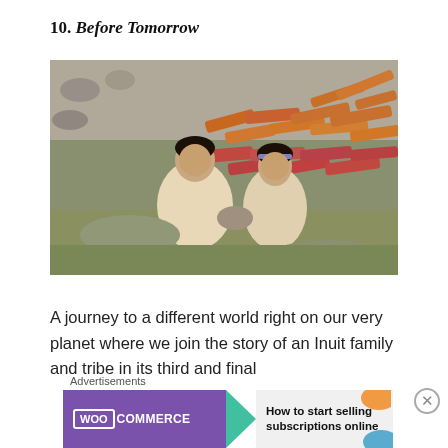10. Before Tomorrow
[Figure (photo): Two Inuit people in traditional fur garments sitting outdoors on rocky ground, working with their hands. Behind them are strips of drying meat or fish laid out on the ground in orange and red colors.]
A journey to a different world right on our very planet where we join the story of an Inuit family and tribe in its third and final
Advertisements
[Figure (screenshot): WooCommerce advertisement banner showing the WooCommerce logo on a purple background with a teal arrow, and text 'How to start selling subscriptions online' on a light background with orange and blue decorative shapes.]